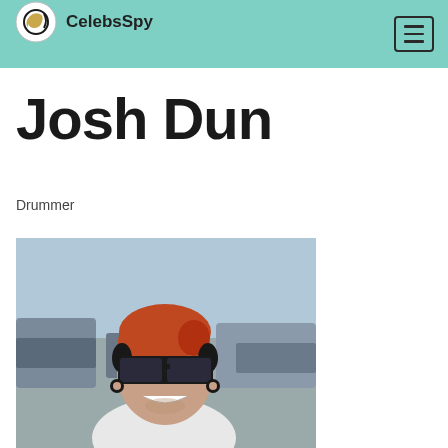CelebsSpy
Josh Dun
Drummer
[Figure (photo): Photo of Josh Dun, a young man with red/auburn hair wearing dark wide-frame sunglasses and gauged ears, smiling, wearing a white t-shirt, in a parking lot with cars in the background.]